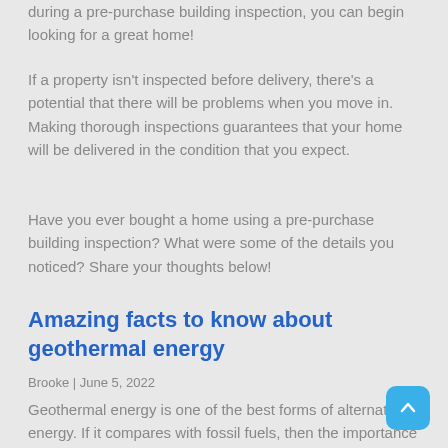during a pre-purchase building inspection, you can begin looking for a great home!
If a property isn't inspected before delivery, there's a potential that there will be problems when you move in. Making thorough inspections guarantees that your home will be delivered in the condition that you expect.
Have you ever bought a home using a pre-purchase building inspection? What were some of the details you noticed? Share your thoughts below!
Amazing facts to know about geothermal energy
Brooke | June 5, 2022
Geothermal energy is one of the best forms of alternative energy. If it compares with fossil fuels, then the importance is terrific. The process is straightforward to give the homes the electricity power as per their preferences.